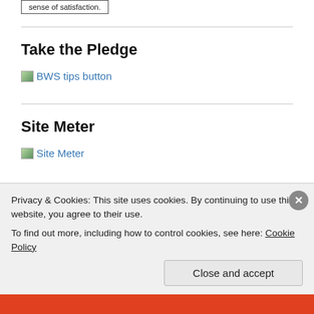sense of satisfaction.
Take the Pledge
[Figure (illustration): BWS tips button image placeholder with broken image icon and alt text 'BWS tips button']
Site Meter
[Figure (illustration): Site Meter image placeholder with broken image icon and alt text 'Site Meter']
Privacy & Cookies: This site uses cookies. By continuing to use this website, you agree to their use.
To find out more, including how to control cookies, see here: Cookie Policy
Close and accept